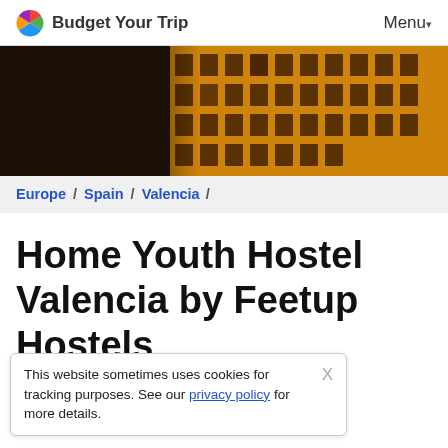Budget Your Trip   Menu
[Figure (photo): Night-time photo of a golden-lit ornate building facade with palm trees in the foreground]
Europe / Spain / Valencia /
Home Youth Hostel Valencia by Feetup Hostels
...nd Information
...style hostel. A very social atmosphere without being too much of a 'party-
This website sometimes uses cookies for tracking purposes. See our privacy policy for more details.